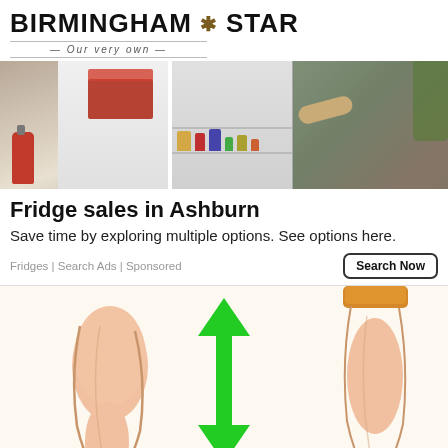BIRMINGHAM STAR — Our very own
[Figure (photo): Banner photo of kitchen scene with refrigerator and person looking inside]
Fridge sales in Ashburn
Save time by exploring multiple options. See options here.
Fridges | Search Ads | Sponsored
[Figure (illustration): Illustration showing two legs with a green double-headed arrow between them, indicating comparison of leg sizes before and after]